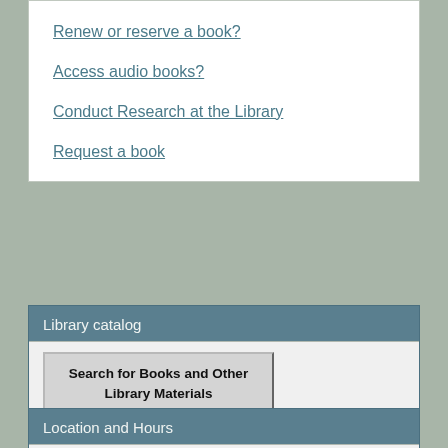Renew or reserve a book?
Access audio books?
Conduct Research at the Library
Request a book
Library catalog
Search for Books and Other Library Materials
Location and Hours
[Figure (photo): Exterior photo of a library building with brick facade and blue sky with bare trees]